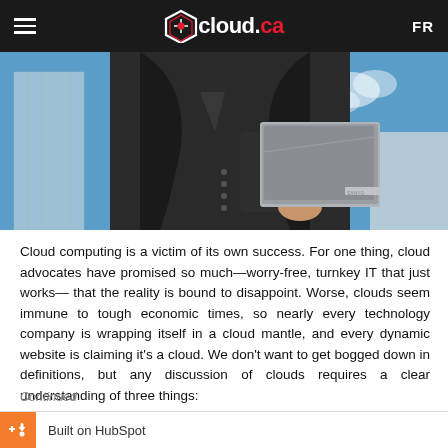cloud.ca  FR
[Figure (photo): A businessperson in a dark suit holding a laptop outdoors against a blue sky with modern buildings in background.]
Cloud computing is a victim of its own success. For one thing, cloud advocates have promised so much—worry-free, turnkey IT that just works— that the reality is bound to disappoint. Worse, clouds seem immune to tough economic times, so nearly every technology company is wrapping itself in a cloud mantle, and every dynamic website is claiming it's a cloud. We don't want to get bogged down in definitions, but any discussion of clouds requires a clear understanding of three things:
Continued
Built on HubSpot